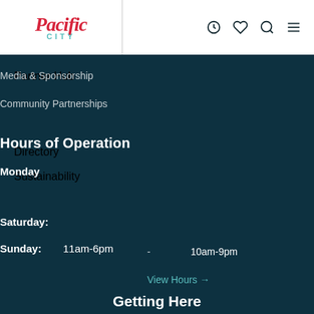[Figure (logo): Pacific City logo with red italic script 'Pacific' above teal 'CITY' text]
Partner Hub
Media & Sponsorship
Community Partnerships
Directory
Sustainability
Hours of Operation
Monday
- 10am-9pm
Saturday:
Sunday: 11am-6pm
View Hours →
Getting Here